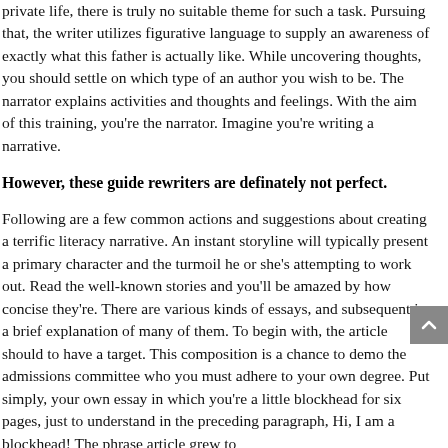private life, there is truly no suitable theme for such a task. Pursuing that, the writer utilizes figurative language to supply an awareness of exactly what this father is actually like. While uncovering thoughts, you should settle on which type of an author you wish to be. The narrator explains activities and thoughts and feelings. With the aim of this training, you're the narrator. Imagine you're writing a narrative.
However, these guide rewriters are definately not perfect.
Following are a few common actions and suggestions about creating a terrific literacy narrative. An instant storyline will typically present a primary character and the turmoil he or she's attempting to work out. Read the well-known stories and you'll be amazed by how concise they're. There are various kinds of essays, and subsequent is a brief explanation of many of them. To begin with, the article should to have a target. This composition is a chance to demo the admissions committee who you must adhere to your own degree. Put simply, your own essay in which you're a little blockhead for six pages, just to understand in the preceding paragraph, Hi, I am a blockhead! The phrase article grew to